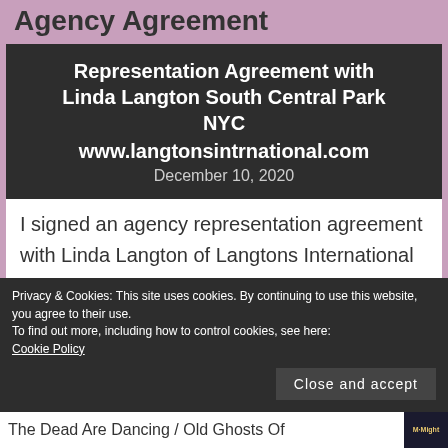Agency Agreement
[Figure (other): Dark header box with representation agreement details: 'Representation Agreement with Linda Langton South Central Park NYC www.langtonsintrnational.com December 10, 2020']
I signed an agency representation agreement with Linda Langton of Langtons International
Privacy & Cookies: This site uses cookies. By continuing to use this website, you agree to their use. To find out more, including how to control cookies, see here: Cookie Policy
Close and accept
The Dead Are Dancing / Old Ghosts Of